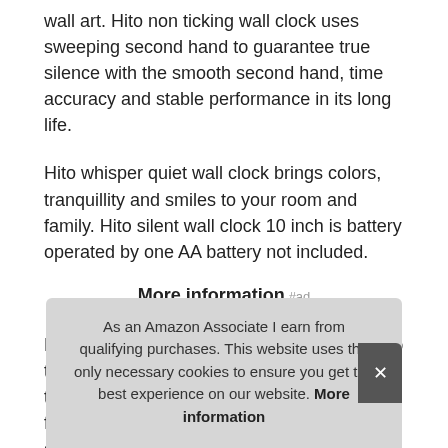wall art. Hito non ticking wall clock uses sweeping second hand to guarantee true silence with the smooth second hand, time accuracy and stable performance in its long life.
Hito whisper quiet wall clock brings colors, tranquillity and smiles to your room and family. Hito silent wall clock 10 inch is battery operated by one AA battery not included.
More information #ad
Brand new battery can last about 1 year. Hito tickless quiet wall clock keeps perfect time, a trust-worthy timepiece. Hito floral wall clocks features appealing colorful flowers, deco[ration for kitchen, bedroom, living room, bathroom, and] offic[e]
As an Amazon Associate I earn from qualifying purchases. This website uses the only necessary cookies to ensure you get the best experience on our website. More information